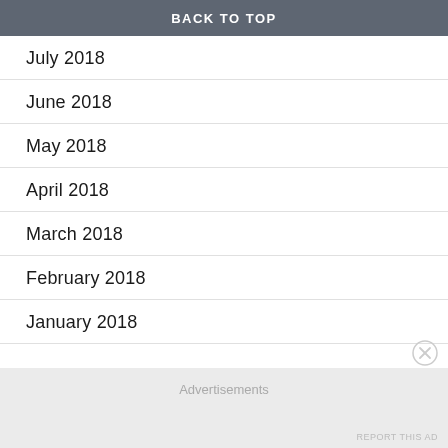BACK TO TOP
July 2018
June 2018
May 2018
April 2018
March 2018
February 2018
January 2018
Advertisements